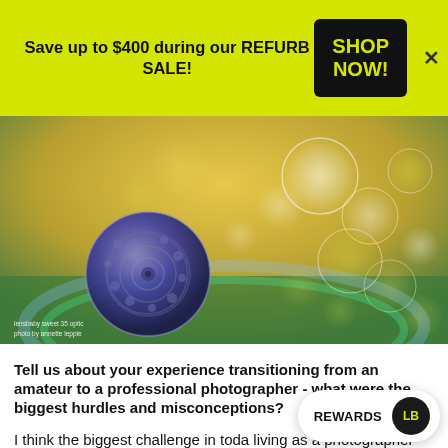Save up to $400 during our REFURB SALE!
SHOP NOW!
[Figure (photo): Macro photograph of a small spiral snail shell resting on green bokeh background with colorful out-of-focus light circles. Caption reads: lensbaby sweet 35 optic / photo by annette lepple]
Tell us about your experience transitioning from an amateur to a professional photographer - what were the biggest hurdles and misconceptions?
I think the biggest challenge in toda living as a photographer because digital photography makes